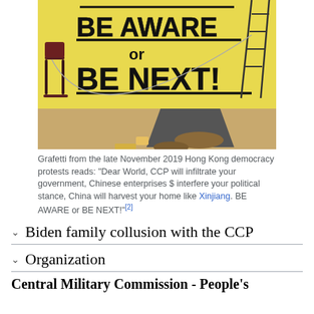[Figure (photo): A room with a yellow wall covered in black graffiti reading 'BE AWARE or BE NEXT!' with a chair, overturned items, and debris on the floor from the late November 2019 Hong Kong democracy protests.]
Grafetti from the late November 2019 Hong Kong democracy protests reads: "Dear World, CCP will infiltrate your government, Chinese enterprises $ interfere your political stance, China will harvest your home like Xinjiang. BE AWARE or BE NEXT!"[2]
Biden family collusion with the CCP
Organization
Central Military Commission - People's